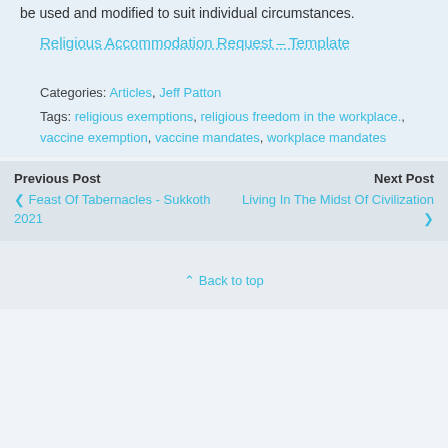be used and modified to suit individual circumstances.
Religious Accommodation Request – Template
Categories: Articles, Jeff Patton
Tags: religious exemptions, religious freedom in the workplace., vaccine exemption, vaccine mandates, workplace mandates
Previous Post
‹ Feast Of Tabernacles - Sukkoth 2021
Next Post
Living In The Midst Of Civilization ›
Back to top